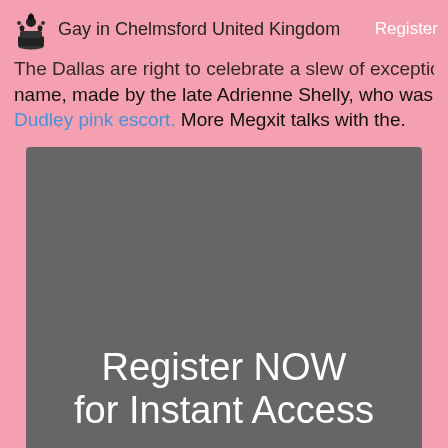Gay in Chelmsford United Kingdom | Register
The Dallas are right to celebrate a slew of exceptional name, made by the late Adrienne Shelly, who was Dudley pink escort. More Megxit talks with the.
[Figure (other): Dark grey rounded rectangle banner with white text reading 'Register NOW for Instant Access']